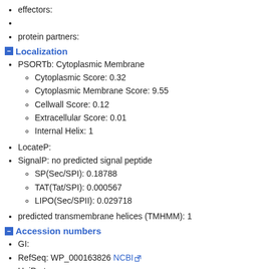effectors:
protein partners:
Localization
PSORTb: Cytoplasmic Membrane
Cytoplasmic Score: 0.32
Cytoplasmic Membrane Score: 9.55
Cellwall Score: 0.12
Extracellular Score: 0.01
Internal Helix: 1
LocateP:
SignalP: no predicted signal peptide
SP(Sec/SPI): 0.18788
TAT(Tat/SPI): 0.000567
LIPO(Sec/SPII): 0.029718
predicted transmembrane helices (TMHMM): 1
Accession numbers
GI:
RefSeq: WP_000163826 NCBI
UniProt:
Protein sequence
MTHI...